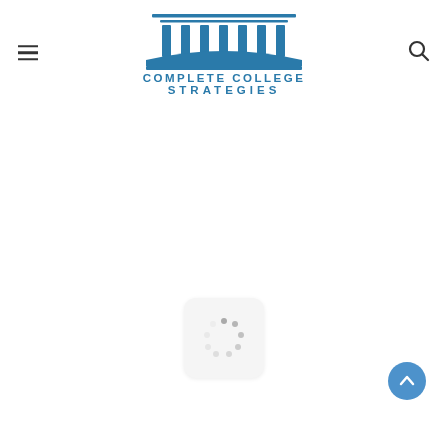Complete College Strategies – website header with logo, menu icon, and search icon
[Figure (logo): Complete College Strategies logo: a stylized building/columns icon in teal/blue above the text 'COMPLETE COLLEGE STRATEGIES' in teal capital letters]
[Figure (screenshot): Loading spinner (animated circular dots) centered in a rounded rectangle on a white page background]
[Figure (other): Scroll-to-top button: a blue circle with a white upward arrow, positioned at bottom right of the page]